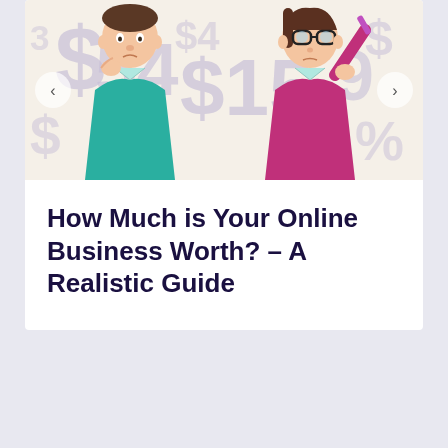[Figure (illustration): A cartoon illustration of two confused-looking people (a man in a teal suit on the left and a woman in purple/magenta on the right) surrounded by large dollar signs and numbers ($54, $159) on a light cream/beige background with navigation arrows on both sides.]
How Much is Your Online Business Worth? – A Realistic Guide